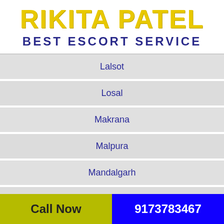RIKITA PATEL
BEST ESCORT SERVICE
Lalsot
Losal
Makrana
Malpura
Mandalgarh
Mandawa
Mangrol
Call Now  9173783467